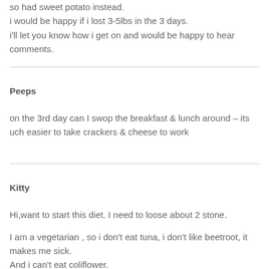so had sweet potato instead.
i would be happy if i lost 3-5lbs in the 3 days.
i'll let you know how i get on and would be happy to hear comments.
Peeps
on the 3rd day can I swop the breakfast & lunch around – its uch easier to take crackers & cheese to work
Kitty
Hi,want to start this diet. I need to loose about 2 stone.
I am a vegetarian , so i don't eat tuna, i don't like beetroot, it makes me sick.
And i can't eat coliflower.